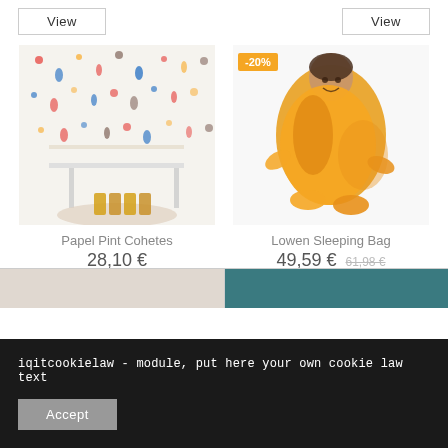[Figure (other): View button top left]
[Figure (other): View button top right]
[Figure (photo): Papel Pint Cohetes - children's room wallpaper with rockets, with wooden toys on a rug]
Papel Pint Cohetes
28,10 €
[Figure (photo): Lowen Sleeping Bag - child wrapped in a yellow/orange sleeping bag on white background, with -20% badge]
Lowen Sleeping Bag
49,59 € 61,98 €
iqitcookielaw - module, put here your own cookie law text
Accept